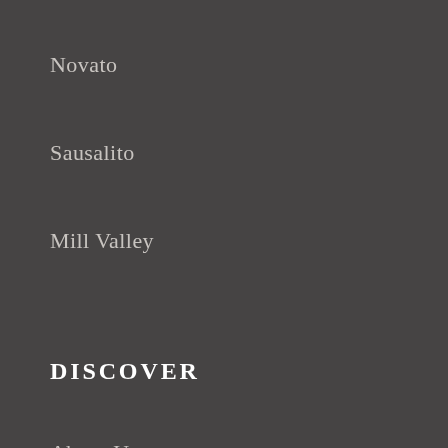Novato
Sausalito
Mill Valley
DISCOVER
About Us
Our Agents
Search Listings
Contact Us